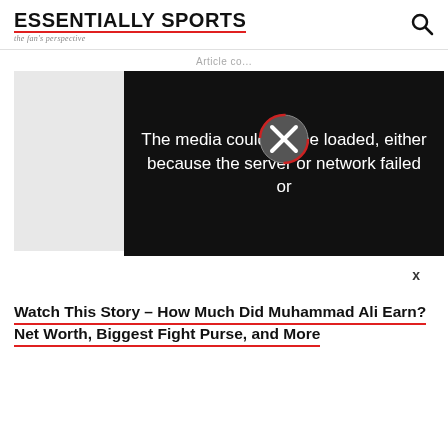ESSENTIALLY SPORTS — the fan's perspective
Article co...
[Figure (screenshot): Video player area with black overlay showing media error message: 'The media could not be loaded, either because the server or network failed or' with a crossed-out circle icon in the center. Gray placeholder panel on the left. Close button 'x' at bottom right of overlay.]
Watch This Story – How Much Did Muhammad Ali Earn? Net Worth, Biggest Fight Purse, and More